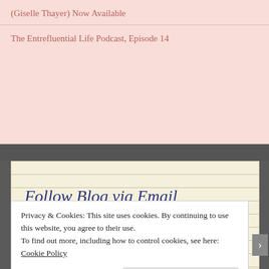(Giselle Thayer) Now Available
The Entrefluential Life Podcast, Episode 14
Follow Blog via Email
Enter your email address to follow this blog and receive notifications of new posts by email.
Email Address
Privacy & Cookies: This site uses cookies. By continuing to use this website, you agree to their use.
To find out more, including how to control cookies, see here: Cookie Policy
Close and accept